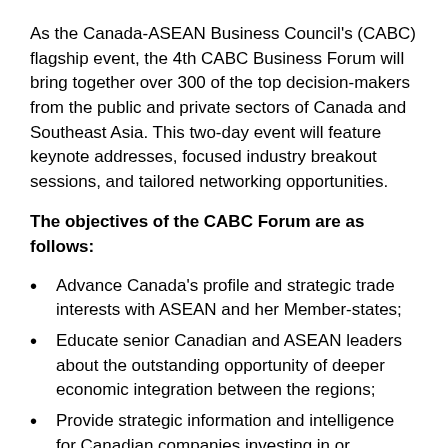As the Canada-ASEAN Business Council's (CABC) flagship event, the 4th CABC Business Forum will bring together over 300 of the top decision-makers from the public and private sectors of Canada and Southeast Asia. This two-day event will feature keynote addresses, focused industry breakout sessions, and tailored networking opportunities.
The objectives of the CABC Forum are as follows:
Advance Canada's profile and strategic trade interests with ASEAN and her Member-states;
Educate senior Canadian and ASEAN leaders about the outstanding opportunity of deeper economic integration between the regions;
Provide strategic information and intelligence for Canadian companies investing in or exploring ASEAN, and similarly, provide strategic